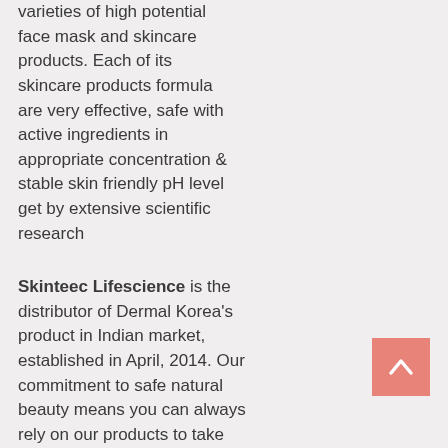varieties of high potential face mask and skincare products. Each of its skincare products formula are very effective, safe with active ingredients in appropriate concentration & stable skin friendly pH level get by extensive scientific research
Skinteec Lifescience is the distributor of Dermal Korea's product in Indian market, established in April, 2014. Our commitment to safe natural beauty means you can always rely on our products to take exceptional care of your
[Figure (other): Back to top button — salmon/coral colored square button with an upward-pointing chevron arrow icon]